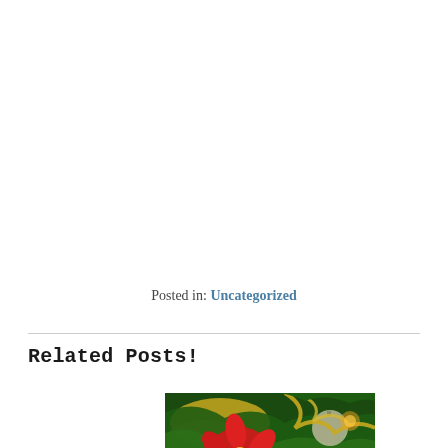Posted in: Uncategorized
Related Posts!
[Figure (photo): Christmas decorations with a red poinsettia flower, gold tinsel, green pine branches, and ornament balls on a Christmas tree]